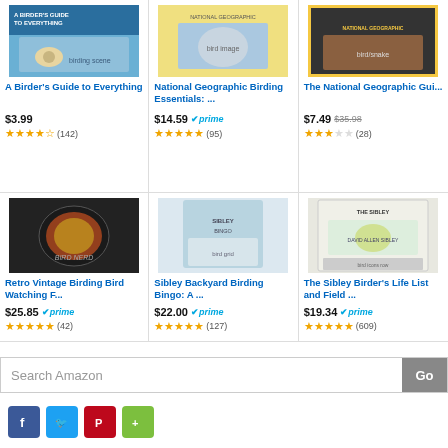[Figure (screenshot): Amazon product listing grid with 6 birding products. Row 1: A Birder's Guide to Everything, National Geographic Birding Essentials, The National Geographic Gui... Row 2: Retro Vintage Birding Bird Watching F..., Sibley Backyard Birding Bingo, The Sibley Birder's Life List and Field. Search bar at bottom and social media sharing buttons.]
A Birder's Guide to Everything
$3.99
(142)
National Geographic Birding Essentials: ...
$14.59
(95)
The National Geographic Gui...
$7.49 $35.98
(28)
Retro Vintage Birding Bird Watching F...
$25.85
(42)
Sibley Backyard Birding Bingo: A ...
$22.00
(127)
The Sibley Birder's Life List and Field ...
$19.34
(609)
Search Amazon
Go